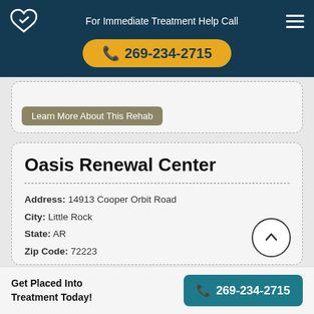For Immediate Treatment Help Call
269-234-2715
Learn More About This Rehab
Oasis Renewal Center
Address: 14913 Cooper Orbit Road
City: Little Rock
State: AR
Zip Code: 72223
Additional Services That Support The Treatment Process: One on one counseling sessions
Get Placed Into Treatment Today! 269-234-2715